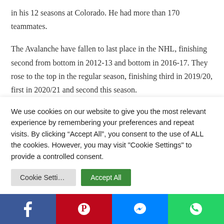in his 12 seasons at Colorado. He had more than 170 teammates.
The Avalanche have fallen to last place in the NHL, finishing second from bottom in 2012-13 and bottom in 2016-17. They rose to the top in the regular season, finishing third in 2019/20, first in 2020/21 and second this season.
They have missed the Stanley Cup Playoffs six times. They lost twice in the first round. They lost three times in the second round.
[RELATED: Complete coverage of Stanley Cup Final]
We use cookies on our website to give you the most relevant experience by remembering your preferences and repeat visits. By clicking “Accept All”, you consent to the use of ALL the cookies. However, you may visit "Cookie Settings" to provide a controlled consent.